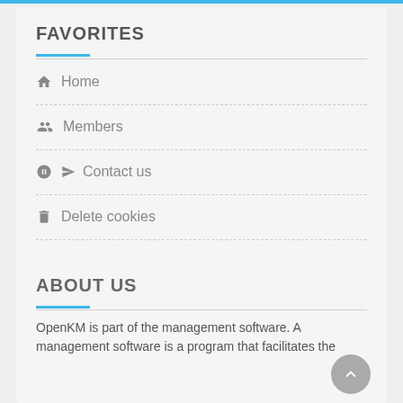FAVORITES
Home
Members
Contact us
Delete cookies
ABOUT US
OpenKM is part of the management software. A management software is a program that facilitates the